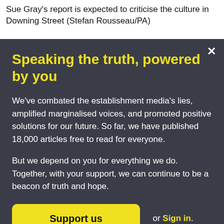Sue Gray's report is expected to criticise the culture in Downing Street (Stefan Rousseau/PA)
Speaking the truth, powered by you
We've combated the establishment media's lies, amplified marginalised voices, and promoted positive solutions for our future. So far, we have published 18,000 articles free to read for everyone.
But we depend on you for everything we do. Together, with your support, we can continue to be a beacon of truth and hope.
Support us or Sign in.